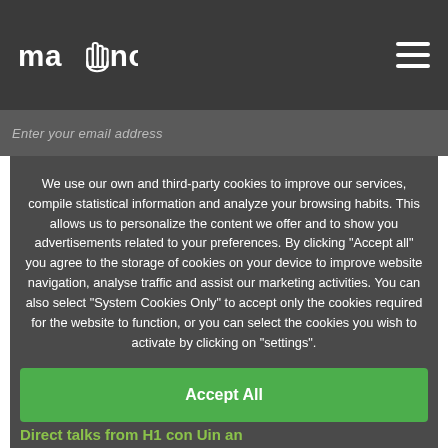[Figure (logo): Mano website logo with hand icon in top-left navigation bar]
Enter your email address
We use our own and third-party cookies to improve our services, compile statistical information and analyze your browsing habits. This allows us to personalize the content we offer and to show you advertisements related to your preferences. By clicking "Accept all" you agree to the storage of cookies on your device to improve website navigation, analyse traffic and assist our marketing activities. You can also select "System Cookies Only" to accept only the cookies required for the website to function, or you can select the cookies you wish to activate by clicking on "settings".
Accept All
Direct talks from H1 con Uin an
Only sistem cookies
Configuration